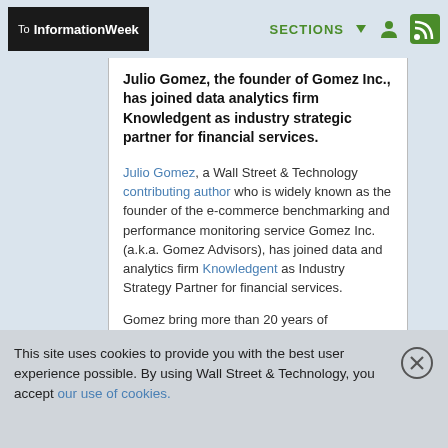To InformationWeek   SECTIONS
Julio Gomez, the founder of Gomez Inc., has joined data analytics firm Knowledgent as industry strategic partner for financial services.
Julio Gomez, a Wall Street & Technology contributing author who is widely known as the founder of the e-commerce benchmarking and performance monitoring service Gomez Inc. (a.k.a. Gomez Advisors), has joined data and analytics firm Knowledgent as Industry Strategy Partner for financial services.

Gomez bring more than 20 years of experience in data and analytics consulting for financial...
This site uses cookies to provide you with the best user experience possible. By using Wall Street & Technology, you accept our use of cookies.